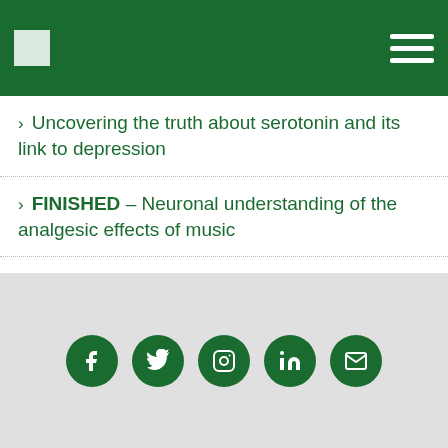Uncovering the truth about serotonin and its link to depression
FINISHED – Neuronal understanding of the analgesic effects of music
Researchers identify a type of brain cell particularly vulnerable to death in Parkinson's disease
EXCLUSIVE: Starbucks to replace Forum Costa
Social media links: Facebook, Twitter, Instagram, LinkedIn, Email